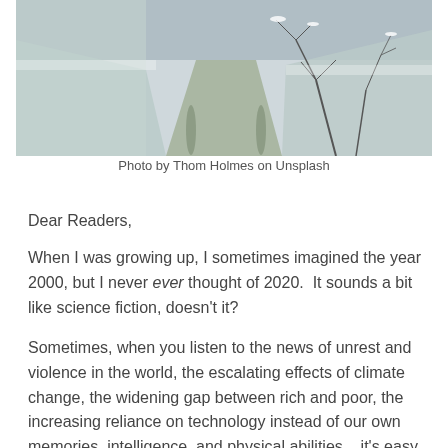[Figure (photo): A snowy dirt road or path lined with frost-covered bare branches and snow-covered ground, photographed from above-angle in winter.]
Photo by Thom Holmes on Unsplash
Dear Readers,
When I was growing up, I sometimes imagined the year 2000, but I never ever thought of 2020.  It sounds a bit like science fiction, doesn't it?
Sometimes, when you listen to the news of unrest and violence in the world, the escalating effects of climate change, the widening gap between rich and poor, the increasing reliance on technology instead of our own memories, intelligence, and physical abilities... it's easy to worry and fear the future.